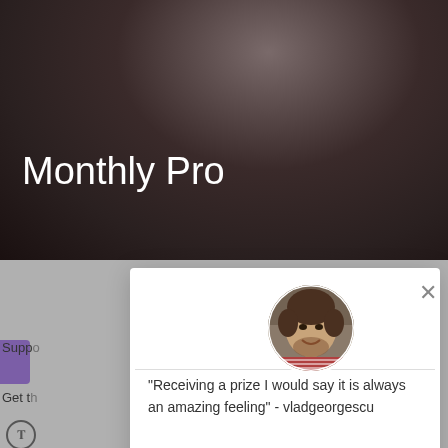[Figure (screenshot): Website screenshot showing a 'Monthly Pro' page with a dark blurry background photo of hair, and a white modal popup overlay containing a profile photo, testimonial quote, and CTA button]
Monthly Pro
[Figure (photo): Circular profile photo of a young man with dark hair and beard, smiling, wearing a striped shirt]
"Receiving a prize I would say it is always an amazing feeling" - vladgeorgescu
Join Now and unlock an extra entry!
Enter Today For FREE